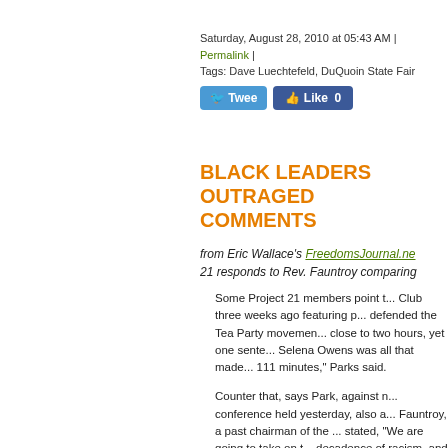Saturday, August 28, 2010 at 05:43 AM | Permalink |
Tags: Dave Luechtefeld, DuQuoin State Fair
BLACK LEADERS OUTRAGED COMMENTS
from Eric Wallace's FreedomsJournal.ne... 21 responds to Rev. Fauntroy comparing...
Some Project 21 members point t... Club three weeks ago featuring p... defended the Tea Party movemen... close to two hours, yet one sente... Selena Owens was all that made... 111 minutes," Parks said.
Counter that, says Park, against n... conference held yesterday, also a... Fauntroy, a past chairman of the ... stated, "We are going to take on t... decadence of racism, and the sco... I meant to say the Tea Party. Yo...